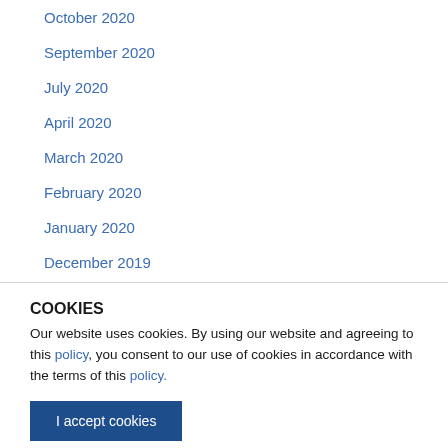October 2020
September 2020
July 2020
April 2020
March 2020
February 2020
January 2020
December 2019
November 2019
COOKIES
Our website uses cookies. By using our website and agreeing to this policy, you consent to our use of cookies in accordance with the terms of this policy.
I accept cookies